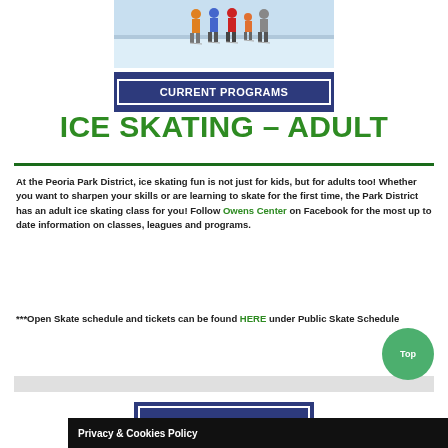[Figure (photo): Ice skating rink with several people (adults and children) standing/skating on the ice, wearing winter clothes.]
CURRENT PROGRAMS
ICE SKATING – ADULT
At the Peoria Park District, ice skating fun is not just for kids, but for adults too!  Whether you want to sharpen your skills or are learning to skate for the first time, the Park District has an adult ice skating class for you! Follow Owens Center on Facebook for the most up to date information on classes, leagues and programs.
***Open Skate schedule and tickets can be found HERE under Public Skate Schedule
Privacy & Cookies Policy